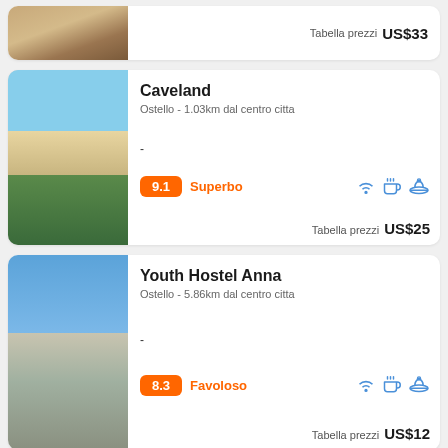[Figure (photo): Partial view of cookies/macarons on a plate — top card cropped]
Tabella prezzi  US$33
[Figure (photo): Hammock near a pool with trees — Caveland hostel]
Caveland
Ostello - 1.03km dal centro citta
-
9.1  Superbo
Tabella prezzi  US$25
[Figure (photo): Rocky coastal beach scene — Youth Hostel Anna]
Youth Hostel Anna
Ostello - 5.86km dal centro citta
-
8.3  Favoloso
Tabella prezzi  US$12